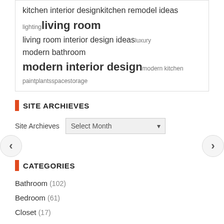kitchen interior designkitchen remodel ideas lightingliving room living room interior design ideasluxury modern bathroom modern interior designmodern kitchen paintplantsspacestorage
SITE ARCHIEVES
Site Archieves   Select Month
CATEGORIES
Bathroom (102)
Bedroom (61)
Closet (17)
Decor (128)
Designs (91)
Door (21)